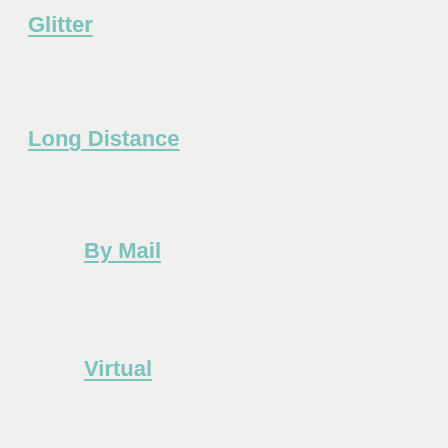Glitter
Long Distance
By Mail
Virtual
Across the Miles
Mason Jar
Oak Tree
Peanut
Princess
Prince